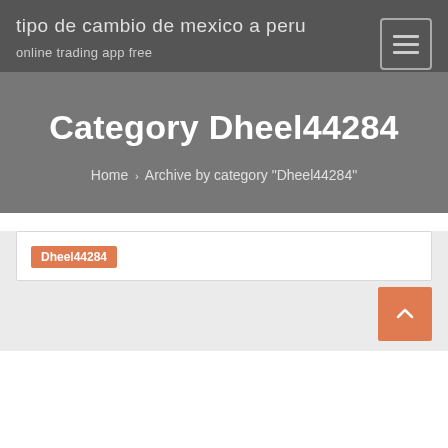tipo de cambio de mexico a peru
online trading app free
Category Dheel44284
Home › Archive by category "Dheel44284"
Dheel44284